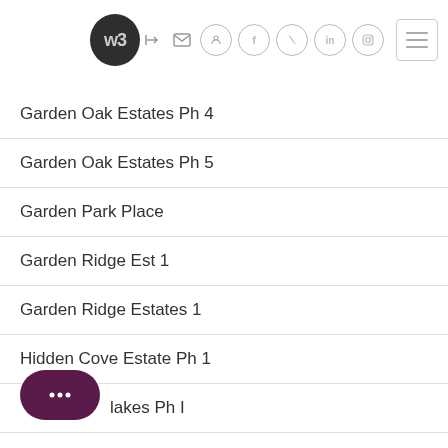[Figure (logo): W3 logo dark circle with hamburger menu and social icons in header]
Garden Oak Estates Ph 4
Garden Oak Estates Ph 5
Garden Park Place
Garden Ridge Est 1
Garden Ridge Estates 1
Hidden Cove Estate Ph 1
Hidden Lakes Ph I
Hivue Add